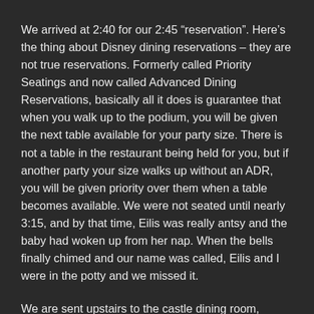We arrived at 2:40 for our 2:45 “reservation”.  Here’s the thing about Disney dining reservations – they are not true reservations.  Formerly called Priority Seatings and now called Advanced Dining Reservations, basically all it does is guarantee that when you walk up to the podium, you will be given the next table available for your party size.  There is not a table in the restaurant being held for you, but if another party your size walks up without an ADR, you will be given priority over them when a table becomes available.  We were not seated until nearly 3:15, and by that time, Eilis was really antsy and the baby had woken up from her nap.  When the bells finally chimed and our name was called, Eilis and I were in the potty and we missed it.
We are sent upstairs to the castle dining room, where we are escorted to our table.  There is an elevator if you need